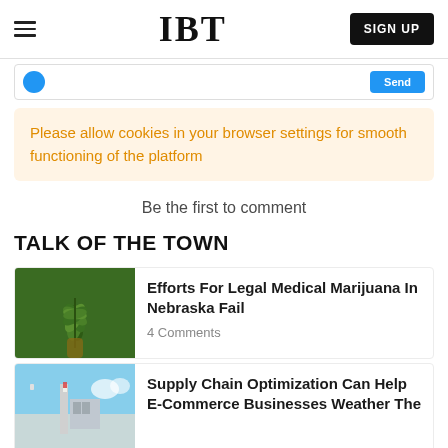IBT | SIGN UP
Please allow cookies in your browser settings for smooth functioning of the platform
Be the first to comment
TALK OF THE TOWN
[Figure (photo): A hand holding a cannabis/marijuana leaf with green foliage]
Efforts For Legal Medical Marijuana In Nebraska Fail
4 Comments
[Figure (photo): Sky with clouds and what appears to be a building or flag pole]
Supply Chain Optimization Can Help E-Commerce Businesses Weather The